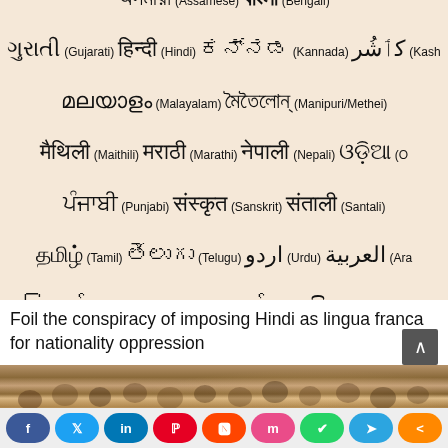[Figure (illustration): Collage of Indian and other Asian language script names with their English transliterations. Scripts shown include Assamese, Bengali, Gujarati, Hindi, Kannada, Kashmiri, Malayalam, Manipuri/Methei, Maithili, Marathi, Nepali, Odia, Punjabi, Sanskrit, Santali, Tamil, Telugu, Urdu, Arabic, Burmese, Mon, Sinhala on a peach/tan background.]
Foil the conspiracy of imposing Hindi as lingua franca for nationality oppression
[Figure (photo): A large crowd of people seated in a hall or auditorium, viewed from the front. The audience appears to be attending a conference or meeting.]